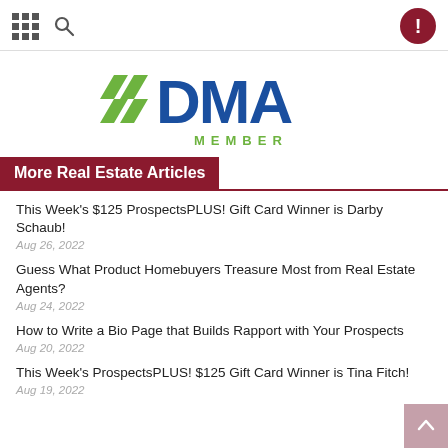Navigation header with grid icon, search icon, and alert button
[Figure (logo): DMA MEMBER logo with green double-arrow chevron and blue DMA text, green MEMBER text below]
More Real Estate Articles
This Week's $125 ProspectsPLUS! Gift Card Winner is Darby Schaub!
Aug 26, 2022
Guess What Product Homebuyers Treasure Most from Real Estate Agents?
Aug 24, 2022
How to Write a Bio Page that Builds Rapport with Your Prospects
Aug 20, 2022
This Week's ProspectsPLUS! $125 Gift Card Winner is Tina Fitch!
Aug 19, 2022